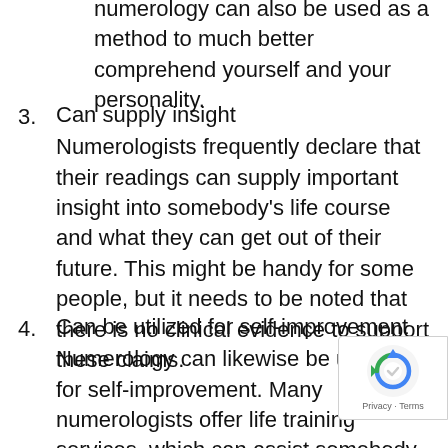numerology can also be used as a method to much better comprehend yourself and your personality.
Can supply insight — Numerologists frequently declare that their readings can supply important insight into somebody's life course and what they can get out of their future. This might be handy for some people, but it needs to be noted that there is no clinical evidence to support these claims.
Can be utilized for self-improvement — Numerology can likewise be utilized for self-improvement. Many numerologists offer life training services, which can assist somebody to make decisions based on the details exposed in their